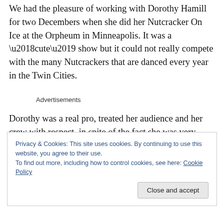We had the pleasure of working with Dorothy Hamill for two Decembers when she did her Nutcracker On Ice at the Orpheum in Minneapolis. It was a ‘cute’ show but it could not really compete with the many Nutcrackers that are danced every year in the Twin Cities.
Advertisements
Dorothy was a real pro, treated her audience and her crew with respect, in spite of the fact she was very unhappy at the time. She suffered from depression all her life. Twice
Privacy & Cookies: This site uses cookies. By continuing to use this website, you agree to their use.
To find out more, including how to control cookies, see here: Cookie Policy